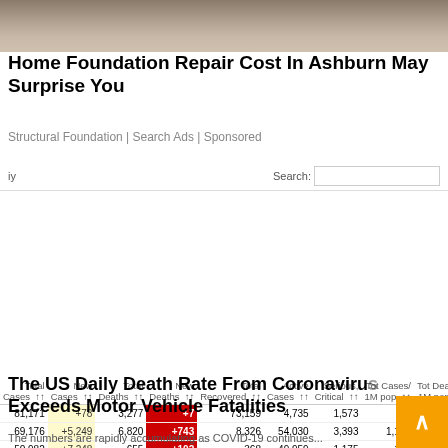[Figure (photo): Stone/rock textured background image at top of page]
Home Foundation Repair Cost In Ashburn May Surprise You
Structural Foundation | Search Ads | Sponsored
| Total Cases | New Cases | Total Deaths | New Deaths | Total Recovered | Active Cases | Serious, Critical | Tot Cases/1M pop | Tot Dea 1M pop |
| --- | --- | --- | --- | --- | --- | --- | --- | --- |
| 81,171 | +78 | 3,277 | +7 | 73,159 | 4,735 | 1,573 | 56 |  |
| 69,176 | +5,249 | 6,820 | +743 | 8,326 | 54,030 | 3,393 | 1,144 |  |
| 50,982 | +7,248 | 655 | +102 | 368 | 49,959 | 1,175 | 154 |  |
| 39,676 | +4,540 | 2,800 | +489 | 3,794 | 33,082 | 2,355 | 849 |  |
| 32,781 | +3,725 | 156 | +33 | 3,243 | 29,382 | 23 | 391 |  |
| 24,811 | +1,762 | 1,934 | +122 | 8,913 | 13,964 |  | 295 |  |
| 19,856 |  | 860 |  | 2,200 | 16,796 | 2,082 | 304 |  |
| 9,877 | +1,082 | 122 | +2 | 131 | 9,624 | 141 | 1,141 |  |
| 9,037 | +76 | 120 | +9 | 3,507 | 5,410 | 59 | 176 |  |
The US Daily Death Rate From Coronavirus Exceeds Motor Vehicle Fatalities
The numbers are rapidly accumulating as COVID-19 continues...